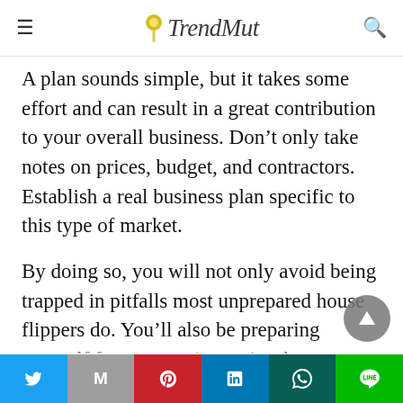TrendMut
A plan sounds simple, but it takes some effort and can result in a great contribution to your overall business. Don’t only take notes on prices, budget, and contractors. Establish a real business plan specific to this type of market.
By doing so, you will not only avoid being trapped in pitfalls most unprepared house flippers do. You’ll also be preparing yourself for any contingencies that you didn’t add at first but could at least predict.
When you have the time, separate a few minutes...
Twitter | Gmail | Pinterest | LinkedIn | WhatsApp | Line